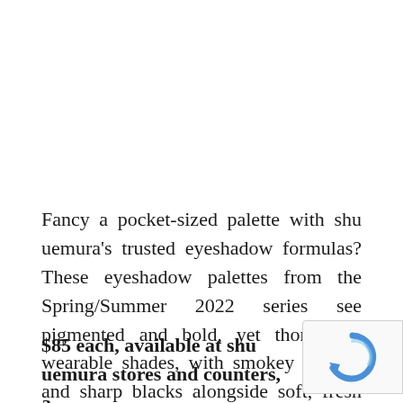Fancy a pocket-sized palette with shu uemura's trusted eyeshadow formulas? These eyeshadow palettes from the Spring/Summer 2022 series see pigmented and bold, yet thoroughly wearable shades, with smokey browns and sharp blacks alongside soft, fresh pinks and pearly glitters. Definitely a more edgy take on Spring.
$85 each, available at shu uemura stores and counters, and Sephora.
[Figure (logo): reCAPTCHA logo badge in bottom right corner]